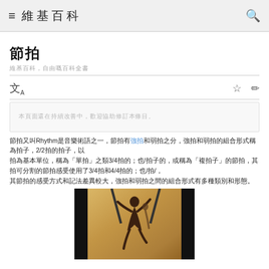維基百科
節拍
维基百科條目
本頁面最後修訂於某日，由多位編者共同完成。
節拍（英語：Rhythm）是音樂術語。節拍有強拍和弱拍之分，強拍和弱拍的組合形式稱為拍子，2/2拍、2/4拍、3/4拍的拍子，以一拍為基本單位，稱為「單拍子」，例如3/4拍；也/4的拍子的「複拍子」指的是節拍可分割成3/4拍和4/4拍；也/4拍/的拍子，其節拍的感受方式和記法差異較大。
[Figure (illustration): Black and white illustration of a tango dancer on aged paper background, with dark borders on left and right sides]